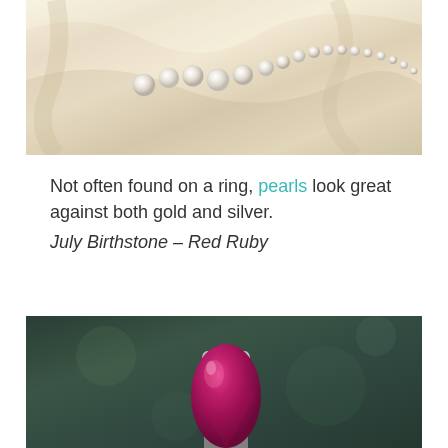[Figure (photo): Pearl necklace on cream/ivory satin fabric, photographed from above. White pearls arranged in a curved line across smooth silky material with soft folds.]
Not often found on a ring, pearls look great against both gold and silver.
July Birthstone – Red Ruby
[Figure (photo): Close-up photo of a ruby gemstone ring with ornate silver setting against a dark green blurred background. The ruby is a deep magenta/red color in a teardrop or oval shape with decorative metalwork.]